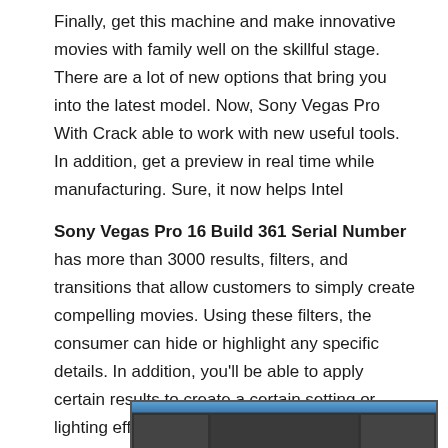Finally, get this machine and make innovative movies with family well on the skillful stage. There are a lot of new options that bring you into the latest model. Now, Sony Vegas Pro With Crack able to work with new useful tools. In addition, get a preview in real time while manufacturing. Sure, it now helps Intel
Sony Vegas Pro 16 Build 361 Serial Number has more than 3000 results, filters, and transitions that allow customers to simply create compelling movies. Using these filters, the consumer can hide or highlight any specific details. In addition, you'll be able to apply certain results to create a certain setting or lighting effect on your movies.
[Figure (screenshot): Partial screenshot of Sony Vegas Pro software interface showing dark UI with timeline and panels]